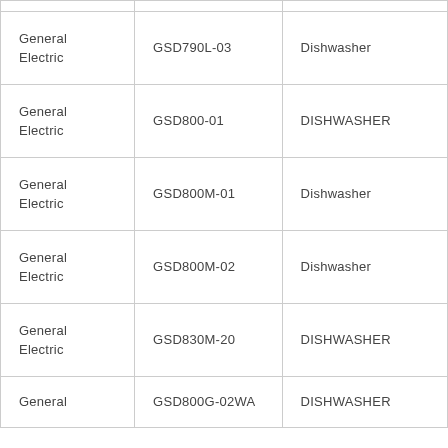| General Electric | GSD790L-03 | Dishwasher |
| General Electric | GSD800-01 | DISHWASHER |
| General Electric | GSD800M-01 | Dishwasher |
| General Electric | GSD800M-02 | Dishwasher |
| General Electric | GSD830M-20 | DISHWASHER |
| General Electric | GSD800G-02WA | DISHWASHER |